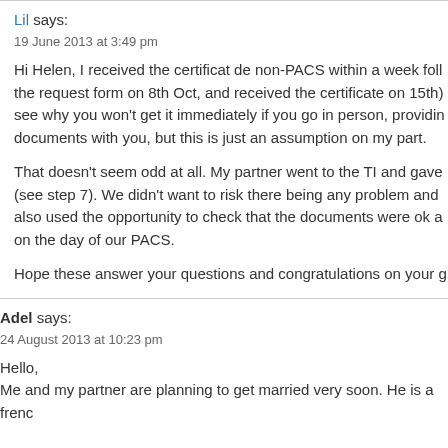Lil says:
19 June 2013 at 3:49 pm
Hi Helen, I received the certificat de non-PACS within a week following the request form on 8th Oct, and received the certificate on 15th). see why you won't get it immediately if you go in person, providing documents with you, but this is just an assumption on my part.
That doesn't seem odd at all. My partner went to the TI and gave (see step 7). We didn't want to risk there being any problem and also used the opportunity to check that the documents were ok a on the day of our PACS.
Hope these answer your questions and congratulations on your g
Adel says:
24 August 2013 at 10:23 pm
Hello,
Me and my partner are planning to get married very soon. He is a frenc